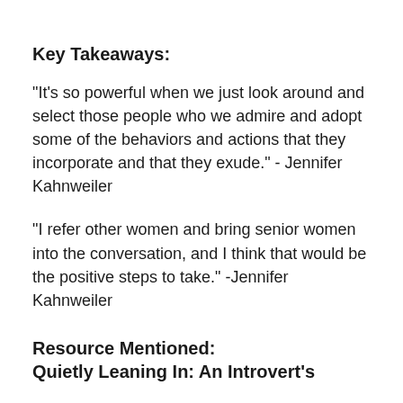Key Takeaways:
“It’s so powerful when we just look around and select those people who we admire and adopt some of the behaviors and actions that they incorporate and that they exude.” - Jennifer Kahnweiler
“I refer other women and bring senior women into the conversation, and I think that would be the positive steps to take.” -Jennifer Kahnweiler
Resource Mentioned:
Quietly Leaning In: An Introvert’s